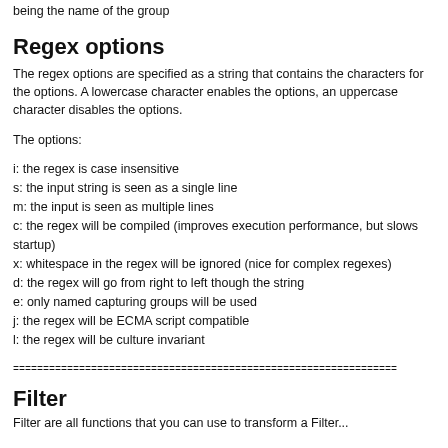being the name of the group
Regex options
The regex options are specified as a string that contains the characters for the options. A lowercase character enables the options, an uppercase character disables the options.
The options:
i: the regex is case insensitive
s: the input string is seen as a single line
m: the input is seen as multiple lines
c: the regex will be compiled (improves execution performance, but slows startup)
x: whitespace in the regex will be ignored (nice for complex regexes)
d: the regex will go from right to left though the string
e: only named capturing groups will be used
j: the regex will be ECMA script compatible
l: the regex will be culture invariant
================================================================
Filter
Filter are...